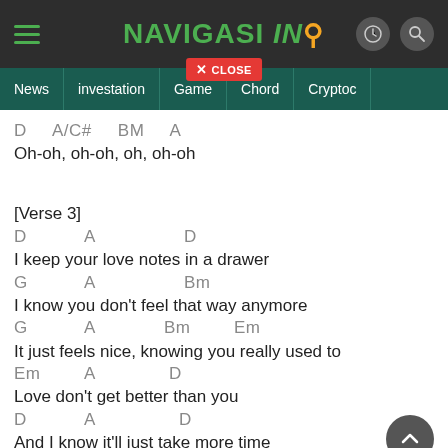NAVIGASI INS (logo with pin icon) — navigation bar with News, investation, Game, Chord, Crypto
D   A/C#   BM   A
Oh-oh, oh-oh, oh, oh-oh
[Verse 3]
D        A              D
I keep your love notes in a drawer
G        A                       Bm
I know you don't feel that way anymore
G              A        Bm         Em
It just feels nice, knowing you really used to
Em           A        D
Love don't get better than you
D             A              D
And I know it'll just take more time